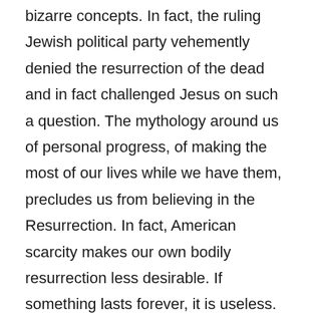bizarre concepts. In fact, the ruling Jewish political party vehemently denied the resurrection of the dead and in fact challenged Jesus on such a question. The mythology around us of personal progress, of making the most of our lives while we have them, precludes us from believing in the Resurrection. In fact, American scarcity makes our own bodily resurrection less desirable. If something lasts forever, it is useless. One person told me he is haunted by the prospect of living forever because he might get bored—or he might experience eternal dread. In the American mythology, eternal life may as well be eternal dread. Death is freeing for those who are enslaved in this world. But Jesus can free us not